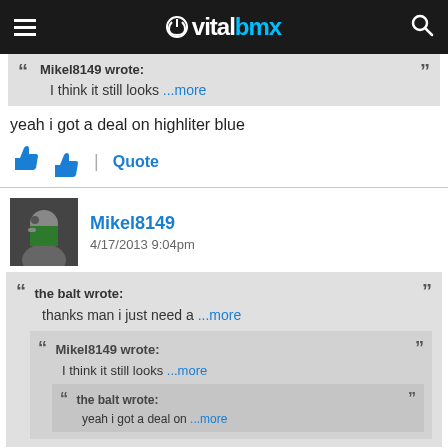vitalbmx
Mikel8149 wrote: I think it still looks ...more
yeah i got a deal on highliter blue
👍 👎 | Quote
Mikel8149 4/17/2013 9:04pm
the balt wrote: thanks man i just need a ...more
Mikel8149 wrote: I think it still looks ...more
the balt wrote: yeah i got a deal on ...more